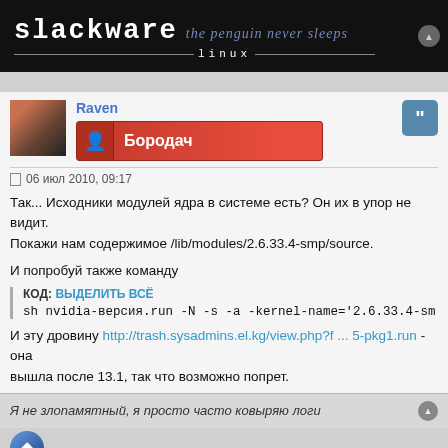[Figure (logo): Slackware Linux logo banner — black background, white bold 'slackware' text, blue italic 'the penguin never sleeps' slogan, 'linux' in smaller spaced text below]
Raven
[Figure (illustration): Red badge with person icon and text 'Бородач']
06 июл 2010, 09:17
Так... Исходники модулей ядра в системе есть? Он их в упор не видит. Покажи нам содержимое /lib/modules/2.6.33.4-smp/source.
И попробуй также команду
КОД: ВЫДЕЛИТЬ ВСЁ
sh nvidia-версия.run -N -s -a -kernel-name='2.6.33.4-sm
И эту дровину http://trash.sysadmins.el.kg/view.php?f ... 5-pkg1.run - она вышла после 13.1, так что возможно попрет.
Я не злопамятный, я просто часто ковыряю логи